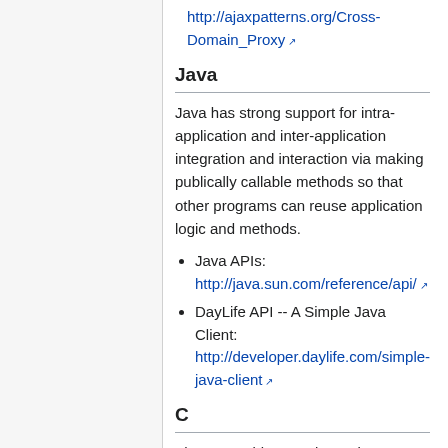http://ajaxpatterns.org/Cross-Domain_Proxy
Java
Java has strong support for intra-application and inter-application integration and interaction via making publically callable methods so that other programs can reuse application logic and methods.
Java APIs: http://java.sun.com/reference/api/
DayLife API -- A Simple Java Client: http://developer.daylife.com/simple-java-client
C
The most widespread APIs in use today though, are probably the C APIs available for Unix and ported to other